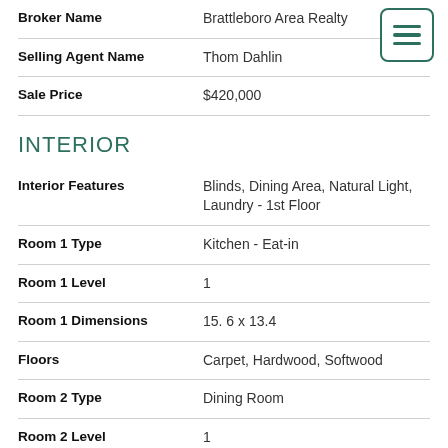| Field | Value |
| --- | --- |
| Broker Name | Brattleboro Area Realty |
| Selling Agent Name | Thom Dahlin |
| Sale Price | $420,000 |
INTERIOR
| Field | Value |
| --- | --- |
| Interior Features | Blinds, Dining Area, Natural Light, Laundry - 1st Floor |
| Room 1 Type | Kitchen - Eat-in |
| Room 1 Level | 1 |
| Room 1 Dimensions | 15. 6 x 13.4 |
| Floors | Carpet, Hardwood, Softwood |
| Room 2 Type | Dining Room |
| Room 2 Level | 1 |